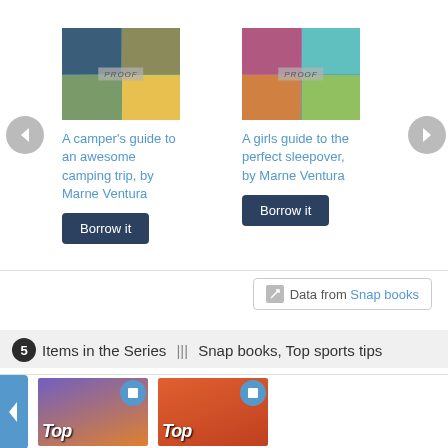[Figure (screenshot): Book carousel showing two book cards with PROOF watermark covers. Left card: 'A camper's guide to an awesome camping trip, by Marne Ventura' with a Borrow it button. Right card: 'A girls guide to the perfect sleepover, by Marne Ventura' with a Borrow it button. Navigation arrows on left and right sides.]
A camper's guide to an awesome camping trip, by Marne Ventura
A girls guide to the perfect sleepover, by Marne Ventura
Data from Snap books
5 Items in the Series ||| Snap books, Top sports tips
[Figure (screenshot): Bottom carousel showing two book covers for 'Top sports tips' series with blue badge icons]